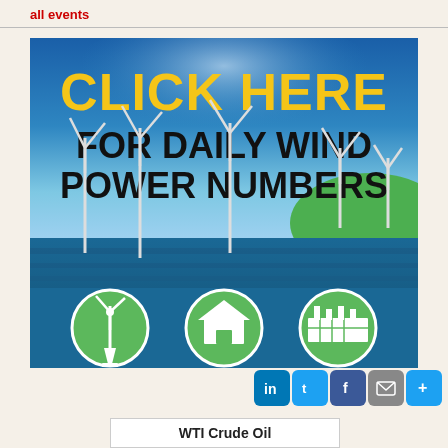all events
[Figure (illustration): Promotional banner with blue background showing wind turbines in water and on green hills. Text reads 'CLICK HERE FOR DAILY WIND POWER NUMBERS' in yellow and black bold font. Bottom row shows three circular green icons: a wind turbine, a house, and a factory/industrial building.]
WTl Crude Oil